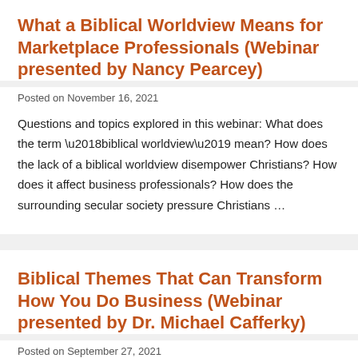What a Biblical Worldview Means for Marketplace Professionals (Webinar presented by Nancy Pearcey)
Posted on November 16, 2021
Questions and topics explored in this webinar: What does the term ‘biblical worldview’ mean? How does the lack of a biblical worldview disempower Christians? How does it affect business professionals? How does the surrounding secular society pressure Christians …
Biblical Themes That Can Transform How You Do Business (Webinar presented by Dr. Michael Cafferky)
Posted on September 27, 2021
Questions and topics explored in this webinar: Business applications for the biblical themes of Wisdom, Holiness, and Redemption How the central character traits and identity of Jesus Christ are relevant in your business How to think more deeply …